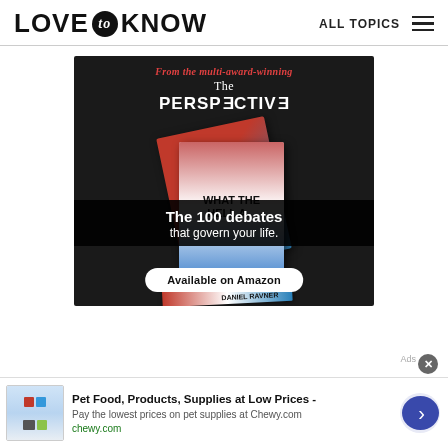LOVE to KNOW   ALL TOPICS
[Figure (photo): Advertisement for 'The Perspective' book. Dark background with book covers showing 'WHAT THE HELL A...' text. Red text reads 'From the multi-award-winning', white text reads 'The PERSPECTIVE'. Dark banner reads 'The 100 debates that govern your life.' with a white button 'Available on Amazon'. Author shown as DANIEL RAVNER.]
[Figure (photo): Bottom advertisement for Chewy.com pet supplies. Shows thumbnail of pet food products. Text: 'Pet Food, Products, Supplies at Low Prices -', 'Pay the lowest prices on pet supplies at Chewy.com', 'chewy.com'. Has a blue circular arrow button on right.]